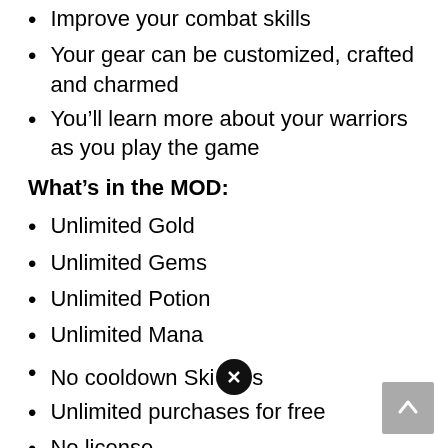Improve your combat skills
Your gear can be customized, crafted and charmed
You’ll learn more about your warriors as you play the game
What’s in the MOD:
Unlimited Gold
Unlimited Gems
Unlimited Potion
Unlimited Mana
No cooldown Skills
Unlimited purchases for free
No license